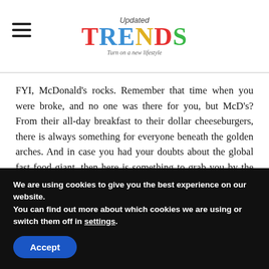Updated TRENDS — Turn on a new lifestyle
FYI, McDonald's rocks. Remember that time when you were broke, and no one was there for you, but McD's? From their all-day breakfast to their dollar cheeseburgers, there is always something for everyone beneath the golden arches. And in case you had your doubts about the global fast food giant, then here is something to grab you by the sweet tooth: McDonald's just introduced an oozy, gooey Nutella burger!
But, here's the catch: they probably know that Nutella t...
We are using cookies to give you the best experience on our website.
You can find out more about which cookies we are using or switch them off in settings.
Accept